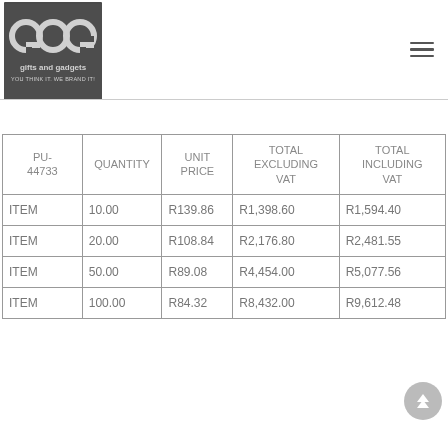[Figure (logo): Gifts and Gadgets logo — dark grey square with three interlocking circle letterforms spelling 'gng', text 'gifts and gadgets' and 'YOU THINK IT. WE BRAND IT!' below]
| PU-44733 | QUANTITY | UNIT PRICE | TOTAL EXCLUDING VAT | TOTAL INCLUDING VAT |
| --- | --- | --- | --- | --- |
| ITEM | 10.00 | R139.86 | R1,398.60 | R1,594.40 |
| ITEM | 20.00 | R108.84 | R2,176.80 | R2,481.55 |
| ITEM | 50.00 | R89.08 | R4,454.00 | R5,077.56 |
| ITEM | 100.00 | R84.32 | R8,432.00 | R9,612.48 |